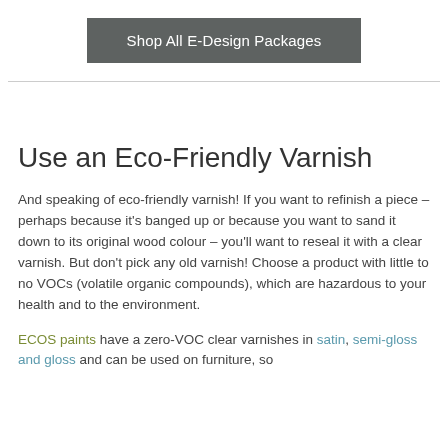Shop All E-Design Packages
Use an Eco-Friendly Varnish
And speaking of eco-friendly varnish! If you want to refinish a piece – perhaps because it's banged up or because you want to sand it down to its original wood colour – you'll want to reseal it with a clear varnish. But don't pick any old varnish! Choose a product with little to no VOCs (volatile organic compounds), which are hazardous to your health and to the environment.
ECOS paints have a zero-VOC clear varnishes in satin, semi-gloss and gloss and can be used on furniture, so…